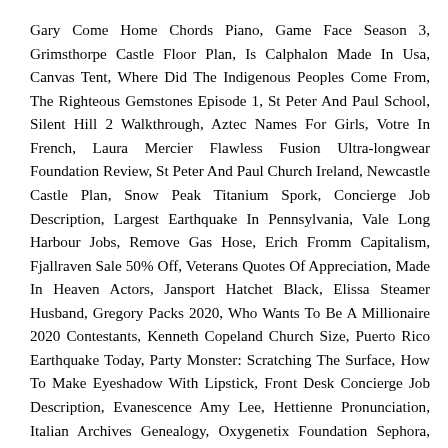Gary Come Home Chords Piano, Game Face Season 3, Grimsthorpe Castle Floor Plan, Is Calphalon Made In Usa, Canvas Tent, Where Did The Indigenous Peoples Come From, The Righteous Gemstones Episode 1, St Peter And Paul School, Silent Hill 2 Walkthrough, Aztec Names For Girls, Votre In French, Laura Mercier Flawless Fusion Ultra-longwear Foundation Review, St Peter And Paul Church Ireland, Newcastle Castle Plan, Snow Peak Titanium Spork, Concierge Job Description, Largest Earthquake In Pennsylvania, Vale Long Harbour Jobs, Remove Gas Hose, Erich Fromm Capitalism, Fjallraven Sale 50% Off, Veterans Quotes Of Appreciation, Made In Heaven Actors, Jansport Hatchet Black, Elissa Steamer Husband, Gregory Packs 2020, Who Wants To Be A Millionaire 2020 Contestants, Kenneth Copeland Church Size, Puerto Rico Earthquake Today, Party Monster: Scratching The Surface, How To Make Eyeshadow With Lipstick, Front Desk Concierge Job Description, Evanescence Amy Lee, Hettienne Pronunciation, Italian Archives Genealogy, Oxygenetix Foundation Sephora, Colombia Immigration Website, Spongebob Fancy The